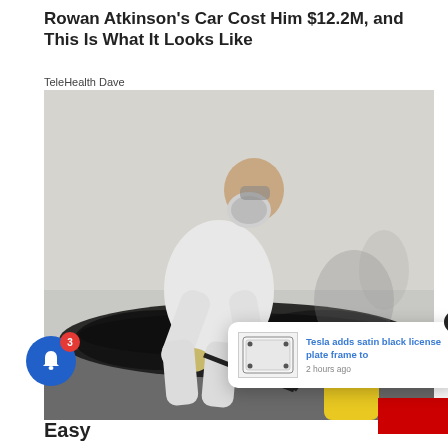Rowan Atkinson's Car Cost Him $12.2M, and This Is What It Looks Like
TeleHealth Dave
[Figure (photo): Person in white hazmat suit and respirator mask spraying or treating a large black mold patch on a white wall, using a yellow and blue sprayer with a black hose attachment.]
[Figure (screenshot): Notification popup showing a Tesla license plate frame product image with text 'Tesla adds satin black license plate frame to' and timestamp '2 hours ago'. A close (X) button is on the top right.]
Easy